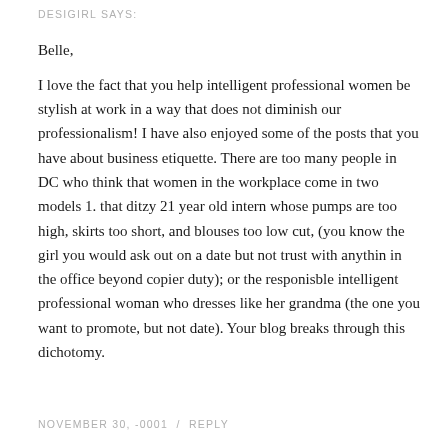DESIGIRL SAYS:
Belle,

I love the fact that you help intelligent professional women be stylish at work in a way that does not diminish our professionalism! I have also enjoyed some of the posts that you have about business etiquette. There are too many people in DC who think that women in the workplace come in two models 1. that ditzy 21 year old intern whose pumps are too high, skirts too short, and blouses too low cut, (you know the girl you would ask out on a date but not trust with anythin in the office beyond copier duty); or the responisble intelligent professional woman who dresses like her grandma (the one you want to promote, but not date). Your blog breaks through this dichotomy.
NOVEMBER 30, -0001  /  REPLY